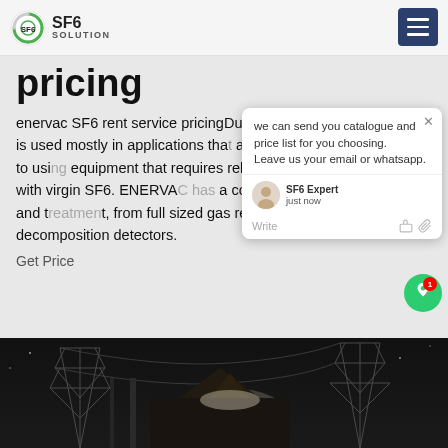SF6 SOLUTION
pricing
enervac SF6 rent service pricingDue to the above reasons, SF6 is used mostly in applications that allow reclamation as opposed to using equipment that requires release of the gas to be re-filled with virgin SF6. ENERVAC has a complete line of SF6 recovery and treatment, from full sized gas reclaimers down to decomposition detectors.
Get Price
[Figure (photo): Night-time photo of electrical substation transmission tower infrastructure with metal lattice structures illuminated against dark sky]